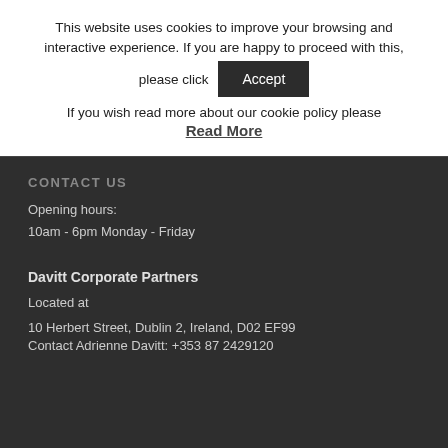This website uses cookies to improve your browsing and interactive experience. If you are happy to proceed with this, please click [Accept] If you wish read more about our cookie policy please Read More
CONTACT US
Opening hours:
10am - 6pm Monday - Friday
Davitt Corporate Partners
Located at
10 Herbert Street, Dublin 2, Ireland, D02 EF99
Contact Adrienne Davitt: +353 87 2429120